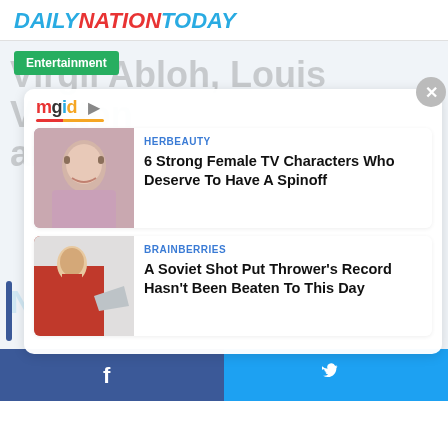DAILYNATIONTODAY
Entertainment
Virgil Abloh, Louis Vuitton and Off-White designer
[Figure (screenshot): MGID content widget overlay showing two article cards: 1) HERBEAUTY - 6 Strong Female TV Characters Who Deserve To Have A Spinoff, with photo of a young woman; 2) BRAINBERRIES - A Soviet Shot Put Thrower's Record Hasn't Been Beaten To This Day, with photo of athlete in red.]
NBC10 Philadelphia
Facebook share | Twitter share